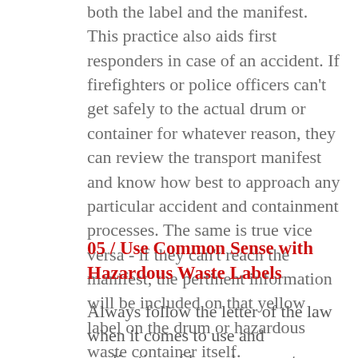both the label and the manifest. This practice also aids first responders in case of an accident. If firefighters or police officers can't get safely to the actual drum or container for whatever reason, they can review the transport manifest and know how best to approach any particular accident and containment processes. The same is true vice versa - if they can't reach the manifest, the pertinent information will be included on that yellow label on the drum or hazardous waste container itself.
05  /  Use Common Sense with Hazardous Waste Labels
Always follow the letter of the law when it comes to use and application of hazardous waste labels and execute their placement with good judgment. For example, the label needs to be in a clear and visible place on the drum or container. Emergency